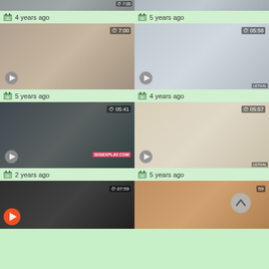[Figure (screenshot): Video thumbnail grid showing 8 video thumbnails in a 2-column layout with timestamps and age indicators]
4 years ago
5 years ago
5 years ago
4 years ago
2 years ago
5 years ago
07:59
59